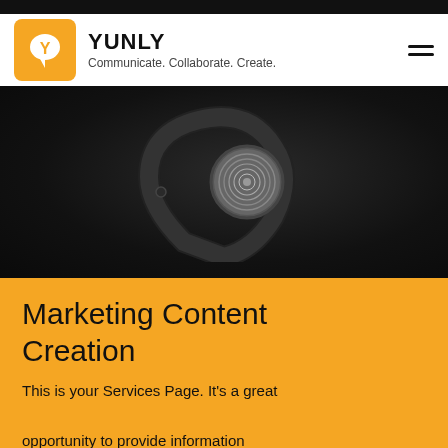[Figure (logo): Yunly logo: orange rounded square with white Y-shaped speech bubble icon, followed by bold text YUNLY and tagline Communicate. Collaborate. Create.]
[Figure (photo): Dark background product photo of a black smart wristband / tracker with a circular silver metallic face showing a fingerprint-like pattern, photographed dramatically against near-black background.]
Marketing Content Creation
This is your Services Page. It's a great opportunity to provide information